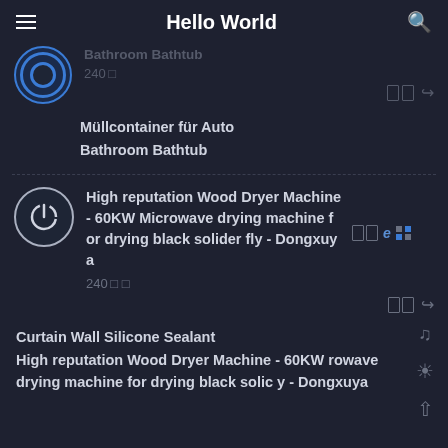Hello World
Bathroom Bathtub
240 □
Müllcontainer für Auto
Bathroom Bathtub
High reputation Wood Dryer Machine - 60KW Microwave drying machine for drying black solider fly - Dongxuya
240 □
Curtain Wall Silicone Sealant
High reputation Wood Dryer Machine - 60KW rowave drying machine for drying black solic y - Dongxuya